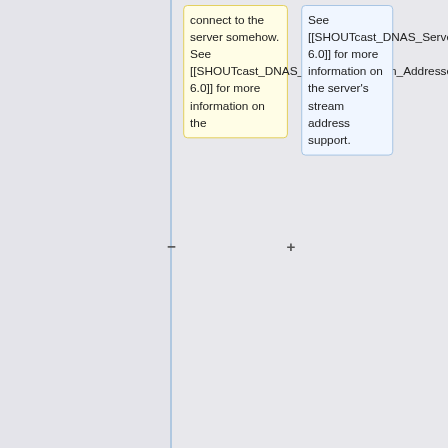connect to the server somehow. See [[SHOUTcast_DNAS_Server_2#Stream_Addresses|section 6.0]] for more information on the
See [[SHOUTcast_DNAS_Server_2#Stream_Addresses|section 6.0]] for more information on the server's stream address support.
server's stream address support.
Note: streampath is the mountpoint, e.g. streampath_1=/mystation would result in ip:port/mystation